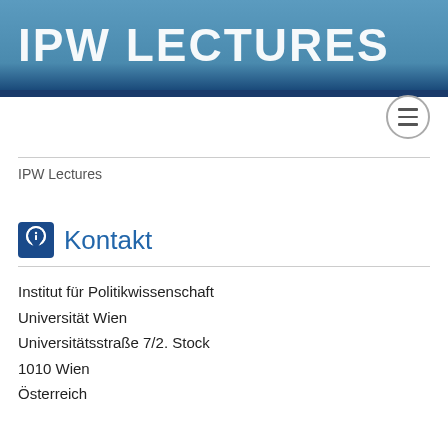IPW LECTURES
IPW Lectures
Kontakt
Institut für Politikwissenschaft
Universität Wien
Universitätsstraße 7/2. Stock
1010 Wien
Österreich